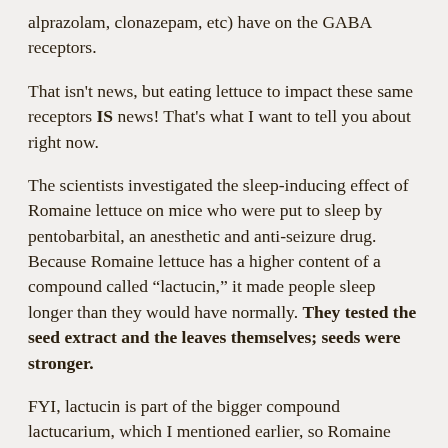alprazolam, clonazepam, etc) have on the GABA receptors.
That isn't news, but eating lettuce to impact these same receptors IS news! That's what I want to tell you about right now.
The scientists investigated the sleep-inducing effect of Romaine lettuce on mice who were put to sleep by pentobarbital, an anesthetic and anti-seizure drug. Because Romaine lettuce has a higher content of a compound called “lactucin,” it made people sleep longer than they would have normally. They tested the seed extract and the leaves themselves; seeds were stronger.
FYI, lactucin is part of the bigger compound lactucarium, which I mentioned earlier, so Romaine does actually